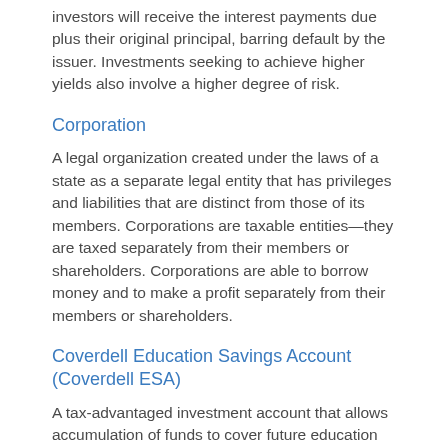investors will receive the interest payments due plus their original principal, barring default by the issuer. Investments seeking to achieve higher yields also involve a higher degree of risk.
Corporation
A legal organization created under the laws of a state as a separate legal entity that has privileges and liabilities that are distinct from those of its members. Corporations are taxable entities—they are taxed separately from their members or shareholders. Corporations are able to borrow money and to make a profit separately from their members or shareholders.
Coverdell Education Savings Account (Coverdell ESA)
A tax-advantaged investment account that allows accumulation of funds to cover future education expenses, subject to limitations. Coverdell ESAs allow money to grow tax deferred and proceeds to be